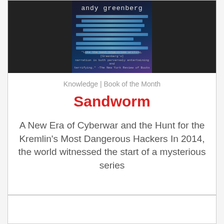[Figure (photo): Book cover of Sandworm by Andy Greenberg, dark blue/purple tones with digital imagery and author name]
Knowledge | Book of the Month
Sandworm
A New Era of Cyberwar and the Hunt for the Kremlin's Most Dangerous Hackers In 2014, the world witnessed the start of a mysterious series